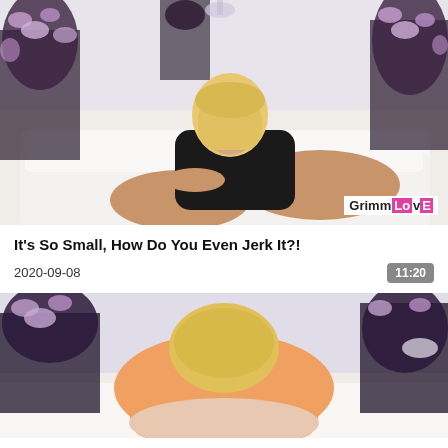[Figure (photo): Video thumbnail showing a blonde woman in a black outfit seated on a white couch with purple floral decorations in the background. GrimmLove watermark in bottom right corner.]
It's So Small, How Do You Even Jerk It?!
2020-09-08
11:20
[Figure (photo): Second video thumbnail showing a blonde person in an orange hoodie from behind, on a white surface, with purple floral decorations in the background.]